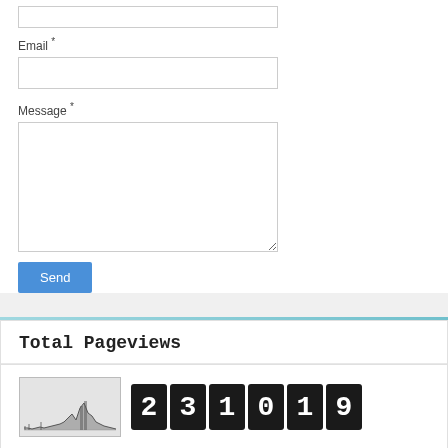Email *
Message *
[Figure (screenshot): Contact form with Email text input, Message textarea, and Send button]
Total Pageviews
[Figure (histogram): Small pageview sparkline chart alongside a 6-digit flip counter showing 231019]
Let's Stay Connected!